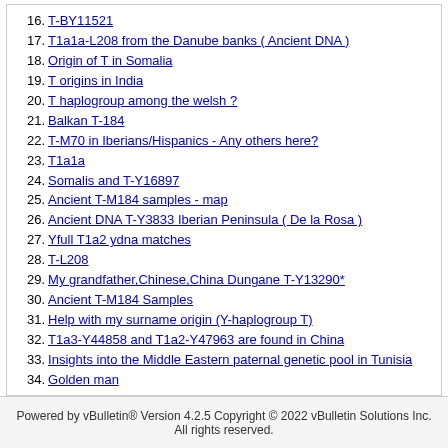16. T-BY11521
17. T1a1a-L208 from the Danube banks ( Ancient DNA )
18. Origin of T in Somalia
19. T origins in India
20. T haplogroup among the welsh ?
21. Balkan T-184
22. T-M70 in Iberians/Hispanics - Any others here?
23. T1a1a
24. Somalis and T-Y16897
25. Ancient T-M184 samples - map
26. Ancient DNA T-Y3833 Iberian Peninsula ( De la Rosa )
27. Yfull T1a2 ydna matches
28. T-L208
29. My grandfather,Chinese,China Dungane T-Y13290*
30. Ancient T-M184 Samples
31. Help with my surname origin (Y-haplogroup T)
32. T1a3-Y44858 and T1a2-Y47963 are found in China
33. Insights into the Middle Eastern paternal genetic pool in Tunisia
34. Golden man
35. "Fine-scale genetic structure in the United Arab Emirates" paper
36. T-BY62664
37. T ydna in Tepe Hissar
38. Haplogroup T in the Balkans
Powered by vBulletin® Version 4.2.5 Copyright © 2022 vBulletin Solutions Inc. All rights reserved.